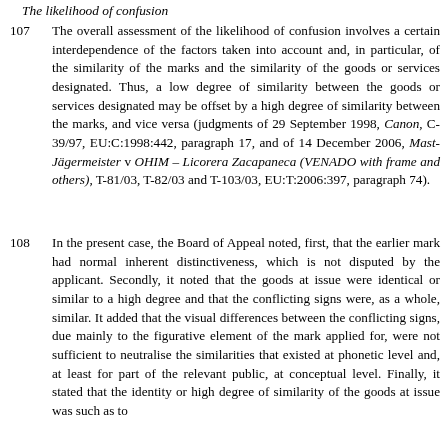The likelihood of confusion
107    The overall assessment of the likelihood of confusion involves a certain interdependence of the factors taken into account and, in particular, of the similarity of the marks and the similarity of the goods or services designated. Thus, a low degree of similarity between the goods or services designated may be offset by a high degree of similarity between the marks, and vice versa (judgments of 29 September 1998, Canon, C-39/97, EU:C:1998:442, paragraph 17, and of 14 December 2006, Mast-Jägermeister v OHIM – Licorera Zacapaneca (VENADO with frame and others), T-81/03, T-82/03 and T-103/03, EU:T:2006:397, paragraph 74).
108    In the present case, the Board of Appeal noted, first, that the earlier mark had normal inherent distinctiveness, which is not disputed by the applicant. Secondly, it noted that the goods at issue were identical or similar to a high degree and that the conflicting signs were, as a whole, similar. It added that the visual differences between the conflicting signs, due mainly to the figurative element of the mark applied for, were not sufficient to neutralise the similarities that existed at phonetic level and, at least for part of the relevant public, at conceptual level. Finally, it stated that the identity or high degree of similarity of the goods at issue was such as to